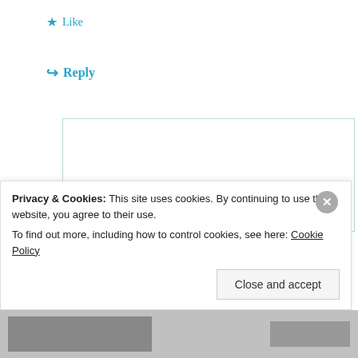★ Like
↪ Reply
foodbuglady
March 23, 2012 at 10:46 am
Jan, I sent an email inquiry to Novartis yesterday via their NovartisOTC
Privacy & Cookies: This site uses cookies. By continuing to use this website, you agree to their use. To find out more, including how to control cookies, see here: Cookie Policy
Close and accept